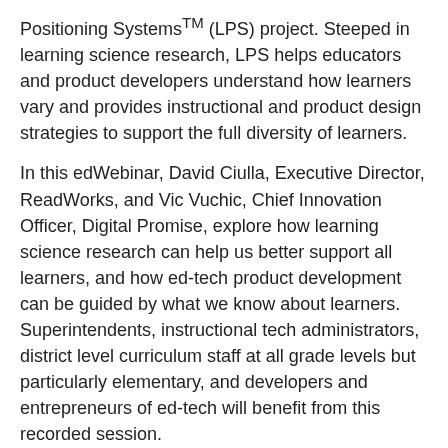Positioning SystemsTM (LPS) project. Steeped in learning science research, LPS helps educators and product developers understand how learners vary and provides instructional and product design strategies to support the full diversity of learners.
In this edWebinar, David Ciulla, Executive Director, ReadWorks, and Vic Vuchic, Chief Innovation Officer, Digital Promise, explore how learning science research can help us better support all learners, and how ed-tech product development can be guided by what we know about learners. Superintendents, instructional tech administrators, district level curriculum staff at all grade levels but particularly elementary, and developers and entrepreneurs of ed-tech will benefit from this recorded session.
[Figure (photo): Headshot photo of a man smiling, with dark hair, wearing a dark jacket, in front of a dark background.]
About the Presenters
Before co-founding the nonprofit ReadWorks, David Ciulla co-founded